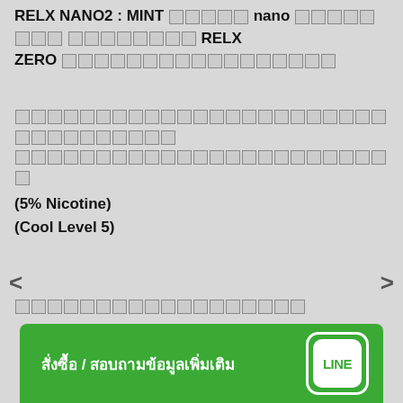RELX NANO2 : MINT [Thai] nano [Thai] [Thai] RELX ZERO [Thai]
[Thai description text] (5% Nicotine) (Cool Level 5)
[Thai label text]
สั่งซื้อ / สอบถามข้อมูลเพิ่มเติม  LINE